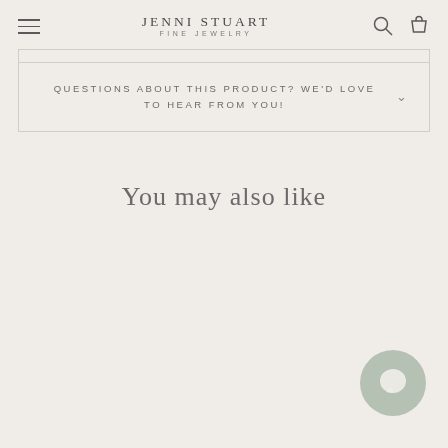JENNI STUART FINE JEWELRY
QUESTIONS ABOUT THIS PRODUCT? WE'D LOVE TO HEAR FROM YOU!
You may also like